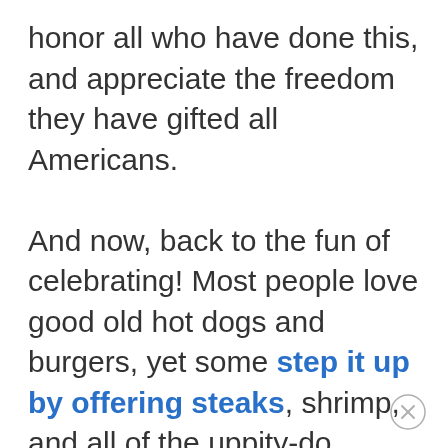honor all who have done this, and appreciate the freedom they have gifted all Americans.

And now, back to the fun of celebrating! Most people love good old hot dogs and burgers, yet some step it up by offering steaks, shrimp, and all of the uppity-do foods, too. It’s all wonderful, but it occurs to me that not everyone wants to spend a week’s paycheck on what should be a fun family or neighborhood celebration.